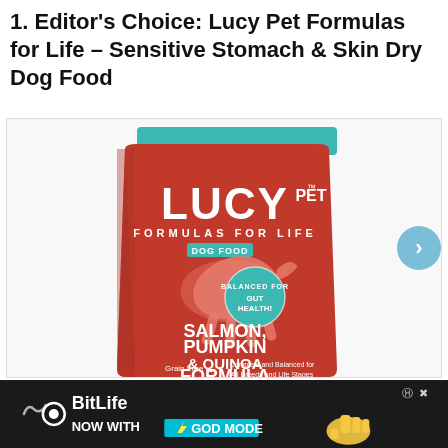1. Editor's Choice: Lucy Pet Formulas for Life – Sensitive Stomach & Skin Dry Dog Food
[Figure (photo): Lucy Pet Formulas for Life dog food bag – Salmon, Pumpkin & Quinoa Formula. Red bag with teal top, white LUCY PET logo, jumping dog silhouette, 'Balanced for Gut Health' badge, 'Grain Free', 'Complete and Balanced for All Breeds and Life Stages'. With a teal arrow navigation button on the right side.]
[Figure (infographic): BitLife advertisement banner: black background, BitLife logo with circle icon, text 'NOW WITH GOD MODE' with yellow lightning bolt styling, question mark and X close buttons, hand/thumbs-up graphic.]